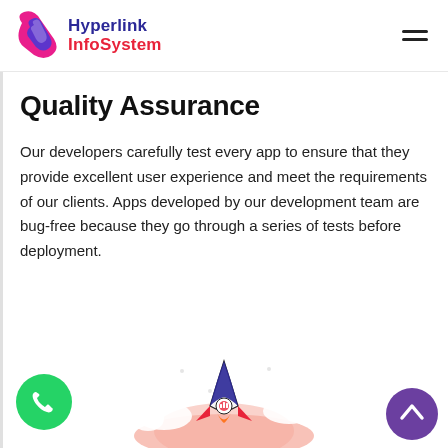Hyperlink InfoSystem
Quality Assurance
Our developers carefully test every app to ensure that they provide excellent user experience and meet the requirements of our clients. Apps developed by our development team are bug-free because they go through a series of tests before deployment.
[Figure (illustration): WhatsApp contact button (green circle with phone handset icon) at bottom left, rocket ship illustration in center bottom, scroll-to-top button (purple circle with up chevron) at bottom right]